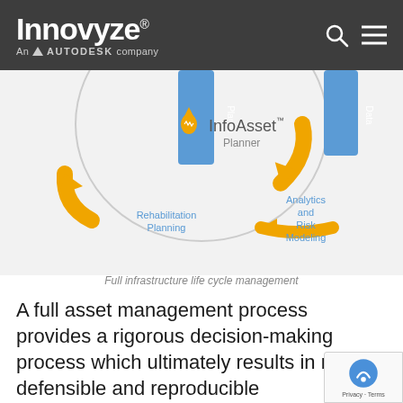[Figure (logo): Innovyze logo - white text on dark grey background with 'An AUTODESK company' subtitle and search/menu icons]
[Figure (infographic): InfoAsset Planner circular lifecycle diagram showing Rehabilitation Planning, Analytics and Risk Modeling stages with orange arrows indicating flow, and blue tab labels for Planner and Data sections]
Full infrastructure life cycle management
A full asset management process provides a rigorous decision-making process which ultimately results in more defensible and reproducible maintenance practices and